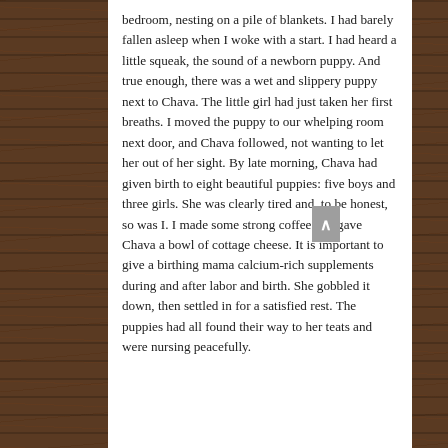bedroom, nesting on a pile of blankets.  I had barely fallen asleep when I woke with a start. I had heard a little squeak, the sound of a newborn puppy. And true enough, there was a wet and slippery puppy next to Chava. The little girl had just taken her first breaths. I moved the puppy to our whelping room next door, and Chava followed, not wanting to let her out of her sight.  By late morning, Chava had given birth to eight beautiful puppies: five boys and three girls.  She was clearly tired and, to be honest, so was I.  I made some strong coffee and gave Chava a bowl of cottage cheese.  It is important to give a birthing mama calcium-rich supplements during and after labor and birth.  She gobbled it down, then settled in for a satisfied rest. The puppies had all found their way to her teats and were nursing peacefully.